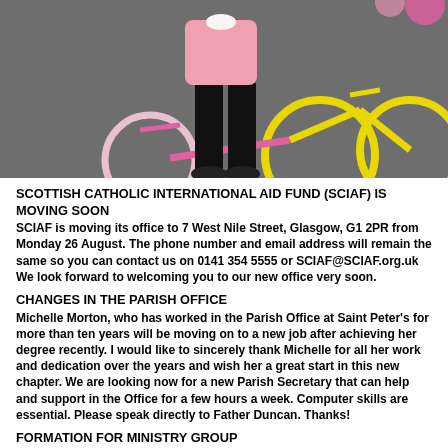[Figure (photo): Person standing in front of colourful pink and yellow bicycles on pavement]
SCOTTISH CATHOLIC INTERNATIONAL AID FUND (SCIAF) IS MOVING SOON
SCIAF is moving its office to 7 West Nile Street, Glasgow, G1 2PR from Monday 26 August. The phone number and email address will remain the same so you can contact us on 0141 354 5555 or SCIAF@SCIAF.org.uk We look forward to welcoming you to our new office very soon.
CHANGES IN THE PARISH OFFICE
Michelle Morton, who has worked in the Parish Office at Saint Peter's for more than ten years will be moving on to a new job after achieving her degree recently. I would like to sincerely thank Michelle for all her work and dedication over the years and wish her a great start in this new chapter. We are looking now for a new Parish Secretary that can help and support in the Office for a few hours a week. Computer skills are essential. Please speak directly to Father Duncan. Thanks!
FORMATION FOR MINISTRY GROUP